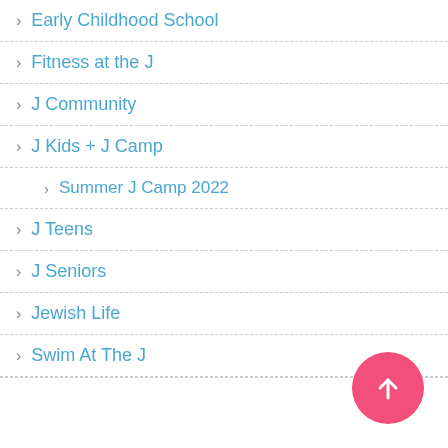> Early Childhood School
> Fitness at the J
> J Community
> J Kids + J Camp
> Summer J Camp 2022
> J Teens
> J Seniors
> Jewish Life
> Swim At The J